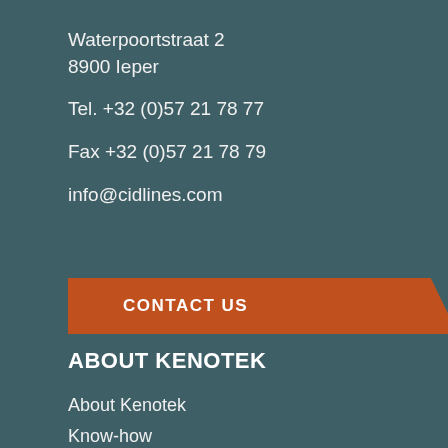Waterpoortstraat 2
8900 Ieper
Tel. +32 (0)57 21 78 77
Fax +32 (0)57 21 78 79
info@cidlines.com
CONTACT US
ABOUT KENOTEK
About Kenotek
Know-how
News
Store locator